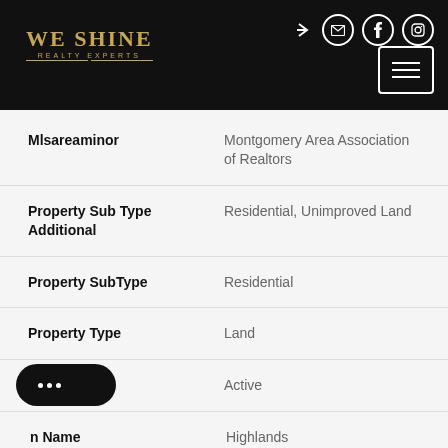[Figure (logo): We Shine Realty Experts logo in gold on black header bar]
| Field | Value |
| --- | --- |
| Mlsareaminor | Montgomery Area Association of Realtors |
| Property Sub Type Additional | Residential, Unimproved Land |
| Property SubType | Residential |
| Property Type | Land |
| Status | Active |
| n Name | Highlands |